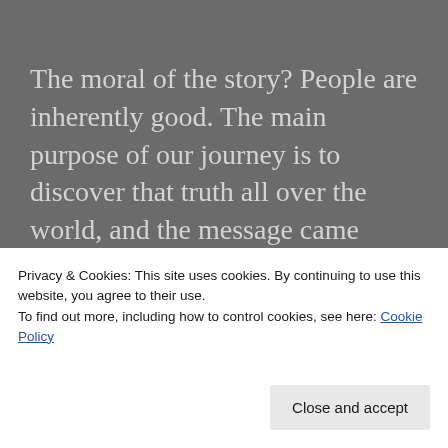The moral of the story?  People are inherently good.  The main purpose of our journey is to discover that truth all over the world, and the message came pretty early in Peru.  Crazy things will happen in life and if you maintain a positive attitude and have faith, everything will always work out for the best.
Advertisements
[Figure (other): Advertisement placeholder black box with inner border]
Privacy & Cookies: This site uses cookies. By continuing to use this website, you agree to their use.
To find out more, including how to control cookies, see here: Cookie Policy